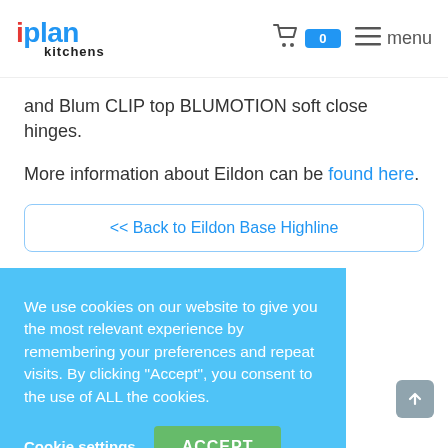iplan kitchens — cart: 0, menu
and Blum CLIP top BLUMOTION soft close hinges.
More information about Eildon can be found here.
<< Back to Eildon Base Highline
We use cookies on our website to give you the most relevant experience by remembering your preferences and repeat visits. By clicking "Accept", you consent to the use of ALL the cookies.
Cookie settings  ACCEPT